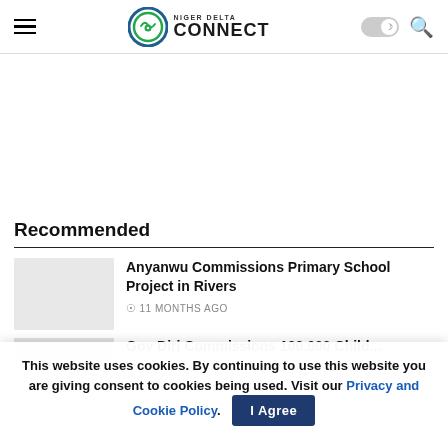Niger Delta Connect
Recommended
Anyanwu Commissions Primary School Project in Rivers
⊙11 MONTHS AGO
This website uses cookies. By continuing to use this website you are giving consent to cookies being used. Visit our Privacy and Cookie Policy.  I Agree